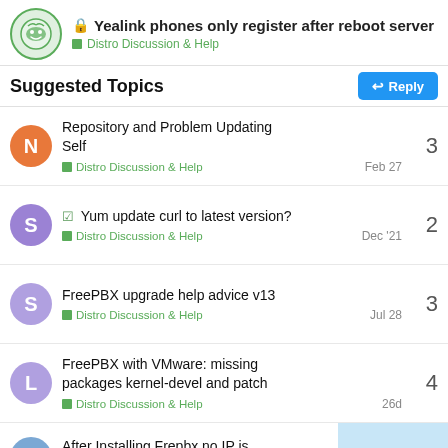Yealink phones only register after reboot server — Distro Discussion & Help
Suggested Topics
Repository and Problem Updating Self — Distro Discussion & Help — Feb 27 — 3 replies
✓ Yum update curl to latest version? — Distro Discussion & Help — Dec '21 — 2 replies
FreePBX upgrade help advice v13 — Distro Discussion & Help — Jul 28 — 3 replies
FreePBX with VMware: missing packages kernel-devel and patch — Distro Discussion & Help — 26d — 4 replies
After Installing Frepbx no IP is appearing and no blinking on — 8/9